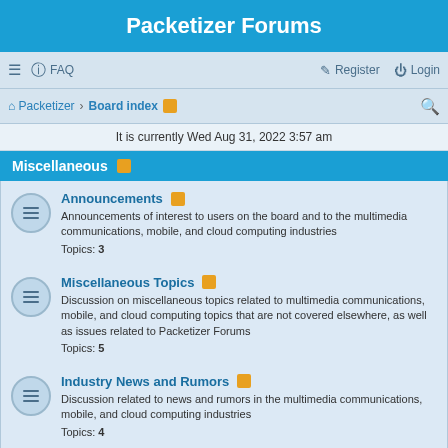Packetizer Forums
≡ FAQ  Register Login
Packetizer › Board index [rss] [search]
It is currently Wed Aug 31, 2022 3:57 am
Miscellaneous
Announcements
Announcements of interest to users on the board and to the multimedia communications, mobile, and cloud computing industries
Topics: 3
Miscellaneous Topics
Discussion on miscellaneous topics related to multimedia communications, mobile, and cloud computing topics that are not covered elsewhere, as well as issues related to Packetizer Forums
Topics: 5
Industry News and Rumors
Discussion related to news and rumors in the multimedia communications, mobile, and cloud computing industries
Topics: 4
Packetizer Labs
AES Crypt
Discussion related to AES Crypt, the file encryption...